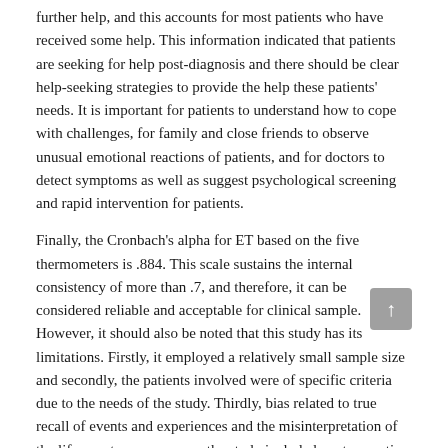further help, and this accounts for most patients who have received some help. This information indicated that patients are seeking for help post-diagnosis and there should be clear help-seeking strategies to provide the help these patients' needs. It is important for patients to understand how to cope with challenges, for family and close friends to observe unusual emotional reactions of patients, and for doctors to detect symptoms as well as suggest psychological screening and rapid intervention for patients.
Finally, the Cronbach's alpha for ET based on the five thermometers is .884. This scale sustains the internal consistency of more than .7, and therefore, it can be considered reliable and acceptable for clinical sample. However, it should also be noted that this study has its limitations. Firstly, it employed a relatively small sample size and secondly, the patients involved were of specific criteria due to the needs of the study. Thirdly, bias related to true recall of events and experiences and the misinterpretation of the life events may occur as the study included a retrospective approach. Hence, the results presented should be interpreted with caution.
Conclusion and Implications